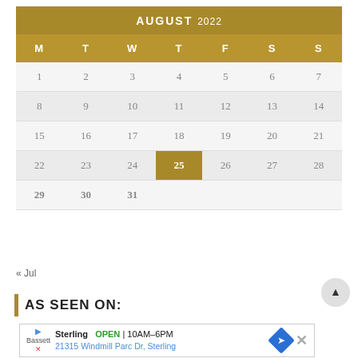| M | T | W | T | F | S | S |
| --- | --- | --- | --- | --- | --- | --- |
| 1 | 2 | 3 | 4 | 5 | 6 | 7 |
| 8 | 9 | 10 | 11 | 12 | 13 | 14 |
| 15 | 16 | 17 | 18 | 19 | 20 | 21 |
| 22 | 23 | 24 | 25 | 26 | 27 | 28 |
| 29 | 30 | 31 |  |  |  |  |
« Jul
AS SEEN ON:
Sterling OPEN | 10AM–6PM 21315 Windmill Parc Dr, Sterling